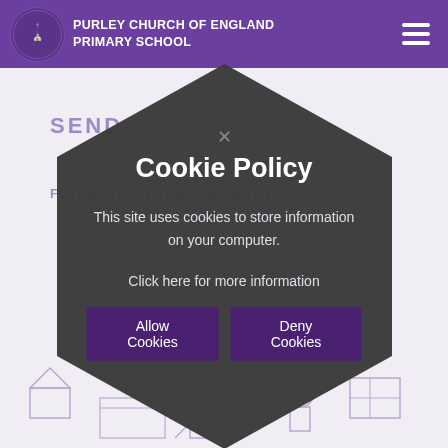PURLEY CHURCH OF ENGLAND PRIMARY SCHOOL
SEND
FINANCIAL TRANSPARENCY
Cookie Policy
This site uses cookies to store information on your computer.
Click here for more information
Allow Cookies
Deny Cookies